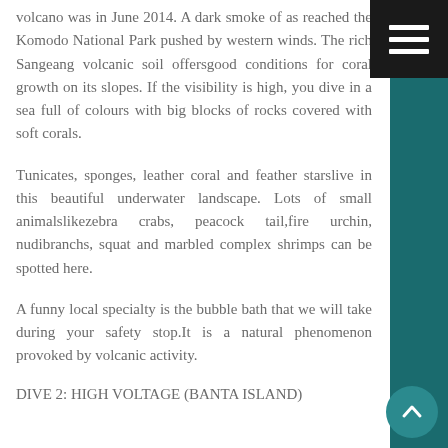volcano was in June 2014. A dark smoke of as reached the Komodo National Park pushed by western winds. The rich Sangeang volcanic soil offersgood conditions for coral growth on its slopes. If the visibility is high, you dive in a sea full of colours with big blocks of rocks covered with soft corals.
Tunicates, sponges, leather coral and feather starslive in this beautiful underwater landscape. Lots of small animalslikezebra crabs, peacock tail,fire urchin, nudibranchs, squat and marbled complex shrimps can be spotted here.
A funny local specialty is the bubble bath that we will take during your safety stop.It is a natural phenomenon provoked by volcanic activity.
DIVE 2: HIGH VOLTAGE (BANTA ISLAND)